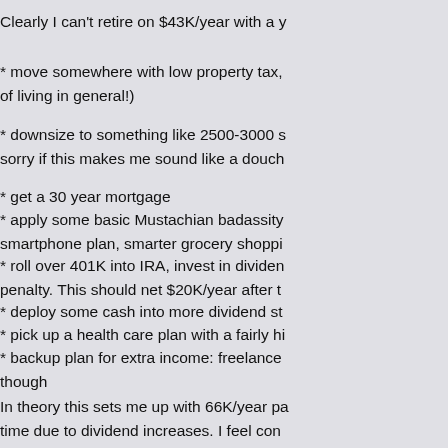Clearly I can't retire on $43K/year with a y
* move somewhere with low property tax, of living in general!)
* downsize to something like 2500-3000 s sorry if this makes me sound like a douch
* get a 30 year mortgage
* apply some basic Mustachian badassity smartphone plan, smarter grocery shoppi
* roll over 401K into IRA, invest in dividen penalty.  This should net $20K/year after t
* deploy some cash into more dividend st
* pick up a health care plan with a fairly hi
* backup plan for extra income: freelance though
In theory this sets me up with 66K/year pa time due to dividend increases.  I feel con 5K, even with allocating $750/month for h
Why do I want to do this by the way?  I wa have time to go on long runs or other stuff for working anymore.
Please point out the flaws, omissions, and